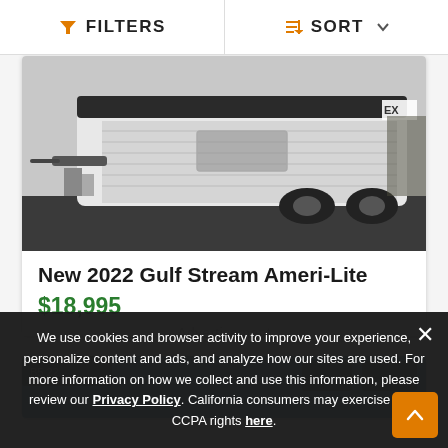FILTERS | SORT
[Figure (photo): Photo of a white and black travel trailer RV parked outdoors, rear/side view, with equipment visible near the hitch.]
New 2022 Gulf Stream Ameri-Lite
$18,995
Advertisement
[Figure (photo): Partial photo of another RV listing, partially visible at the bottom of the page.]
We use cookies and browser activity to improve your experience, personalize content and ads, and analyze how our sites are used. For more information on how we collect and use this information, please review our Privacy Policy. California consumers may exercise their CCPA rights here.